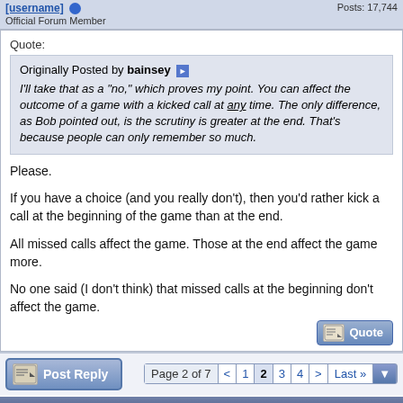Official Forum Member | Posts: 17,744
Quote:
Originally Posted by bainsey
I'll take that as a "no," which proves my point. You can affect the outcome of a game with a kicked call at any time. The only difference, as Bob pointed out, is the scrutiny is greater at the end. That's because people can only remember so much.
Please.

If you have a choice (and you really don't), then you'd rather kick a call at the beginning of the game than at the end.

All missed calls affect the game. Those at the end affect the game more.

No one said (I don't think) that missed calls at the beginning don't affect the game.
Page 2 of 7  <  1  2  3  4  >  Last »
Bookmarks
Digg   del.icio.us